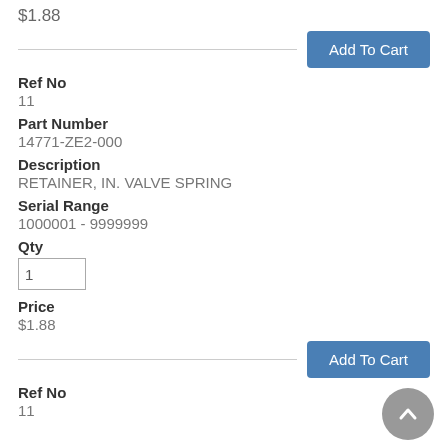$1.88
Add To Cart
Ref No
11
Part Number
14771-ZE2-000
Description
RETAINER, IN. VALVE SPRING
Serial Range
1000001 - 9999999
Qty
1
Price
$1.88
Add To Cart
Ref No
11